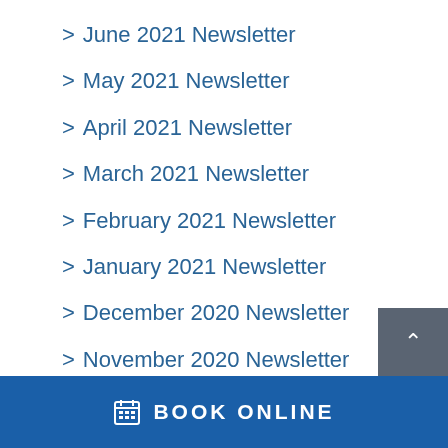June 2021 Newsletter
May 2021 Newsletter
April 2021 Newsletter
March 2021 Newsletter
February 2021 Newsletter
January 2021 Newsletter
December 2020 Newsletter
November 2020 Newsletter
October 2020 Newsletter
BOOK ONLINE